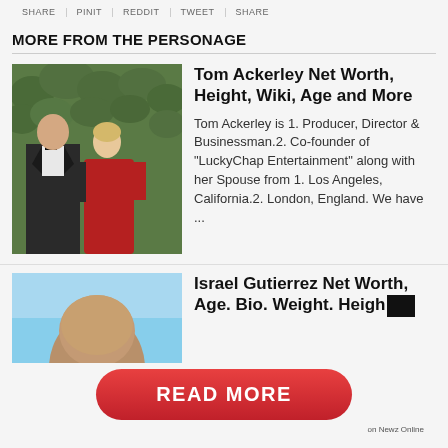SHARE | PINIT | REDDIT | TWEET | SHARE
MORE FROM THE PERSONAGE
[Figure (photo): A man in a tuxedo and a woman in a red dress standing in front of green hedges.]
Tom Ackerley Net Worth, Height, Wiki, Age and More
Tom Ackerley is 1. Producer, Director & Businessman.2. Co-founder of "LuckyChap Entertainment" along with her Spouse from 1. Los Angeles, California.2. London, England. We have ...
[Figure (photo): A bald man's head against a blue sky background.]
Israel Gutierrez Net Worth, Age. Bio. Weight. Height
[Figure (other): Red READ MORE button with white bold text.]